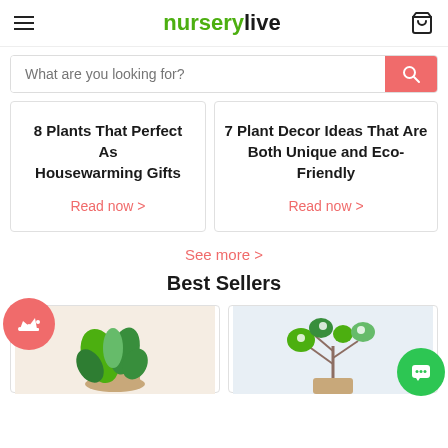nurserylive
What are you looking for?
8 Plants That Perfect As Housewarming Gifts
Read now >
7 Plant Decor Ideas That Are Both Unique and Eco-Friendly
Read now >
See more >
Best Sellers
[Figure (photo): Plant arrangement product photo - best seller 1]
[Figure (photo): Plant arrangement product photo - best seller 2]